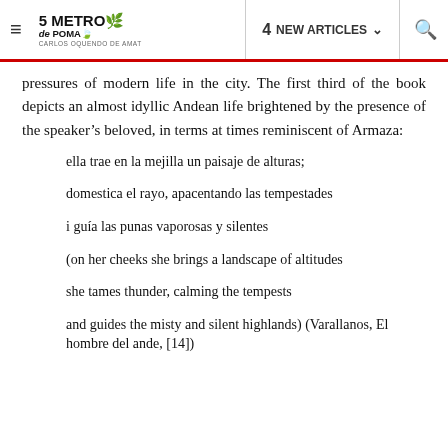≡  5 METROS DE POEMAS  4 NEW ARTICLES ∨  🔍
pressures of modern life in the city. The first third of the book depicts an almost idyllic Andean life brightened by the presence of the speaker's beloved, in terms at times reminiscent of Armaza:
ella trae en la mejilla un paisaje de alturas;
domestica el rayo, apacentando las tempestades
i guía las punas vaporosas y silentes
(on her cheeks she brings a landscape of altitudes
she tames thunder, calming the tempests
and guides the misty and silent highlands) (Varallanos, El hombre del ande, [14])